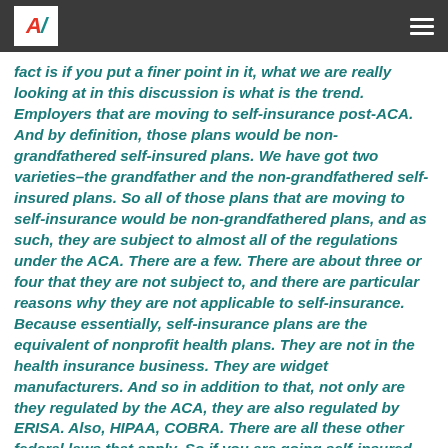AV [logo]
fact is if you put a finer point in it, what we are really looking at in this discussion is what is the trend. Employers that are moving to self-insurance post-ACA. And by definition, those plans would be non-grandfathered self-insured plans. We have got two varieties–the grandfather and the non-grandfathered self-insured plans. So all of those plans that are moving to self-insurance would be non-grandfathered plans, and as such, they are subject to almost all of the regulations under the ACA. There are a few. There are about three or four that they are not subject to, and there are particular reasons why they are not applicable to self-insurance. Because essentially, self-insurance plans are the equivalent of nonprofit health plans. They are not in the health insurance business. They are widget manufacturers. And so in addition to that, not only are they regulated by the ACA, they are also regulated by ERISA. Also, HIPAA, COBRA. There are all these other federal laws that apply. So if you are going self-insured, you are actually subjecting yourself to more regulation, not less, if you are looking from a business owner standpoint.